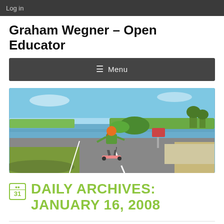Log in
Graham Wegner – Open Educator
≡  Menu
[Figure (photo): A child wearing an orange helmet and green shirt skateboards along a paved path next to a body of water with grass and trees in the background under a blue sky.]
DAILY ARCHIVES: JANUARY 16, 2008